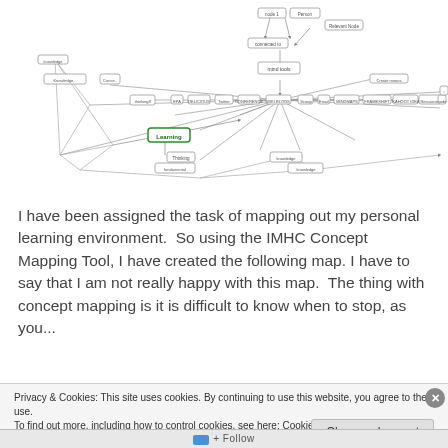[Figure (network-graph): A concept map showing a personal learning environment with nodes and directed edges. A highlighted green node labeled 'Learning' is visible near the center-left. Multiple other nodes with labels are connected by arrows forming a complex network.]
I have been assigned the task of mapping out my personal learning environment.  So using the IMHC Concept Mapping Tool, I have created the following map. I have to say that I am not really happy with this map.  The thing with concept mapping is it is difficult to know when to stop, as you...
Privacy & Cookies: This site uses cookies. By continuing to use this website, you agree to their use.
To find out more, including how to control cookies, see here: Cookie Policy
Close and accept